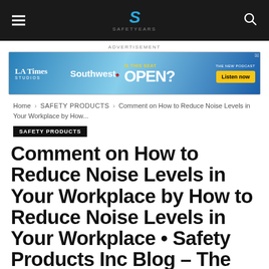SAFETYEARS (logo/navigation header)
[Figure (other): LA Times Studios / Southwest Airlines advertisement banner: IS THIS SEAT OPEN? THE NEW PODCAST. Listen now.]
Home › SAFETY PRODUCTS › Comment on How to Reduce Noise Levels in Your Workplace by How...
SAFETY PRODUCTS
Comment on How to Reduce Noise Levels in Your Workplace by How to Reduce Noise Levels in Your Workplace • Safety Products Inc Blog – The Hustle Shop